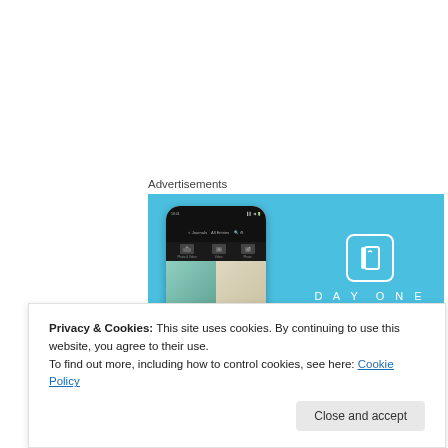Advertisements
[Figure (screenshot): DayOne app advertisement banner. Left side shows a smartphone mockup displaying the DayOne journal app with photo grid. Right side shows the DayOne logo (book icon in rounded square), the brand name 'DAYONE' in spaced letters, and tagline 'Your Journal for life' on a light blue background.]
Privacy & Cookies: This site uses cookies. By continuing to use this website, you agree to their use.
To find out more, including how to control cookies, see here: Cookie Policy
Close and accept
Eusebius (A.D. 263-339), and, according to my